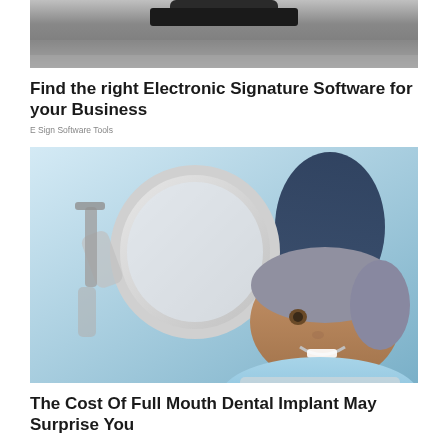[Figure (photo): Top portion of a photo showing a dark surface with a smartphone or device, gray/dark background, cropped at top]
Find the right Electronic Signature Software for your Business
E Sign Software Tools
[Figure (photo): A middle-aged man with gray hair lying in a dental chair, smiling and holding a mirror, with a dental professional in blue gloves visible in the background]
The Cost Of Full Mouth Dental Implant May Surprise You